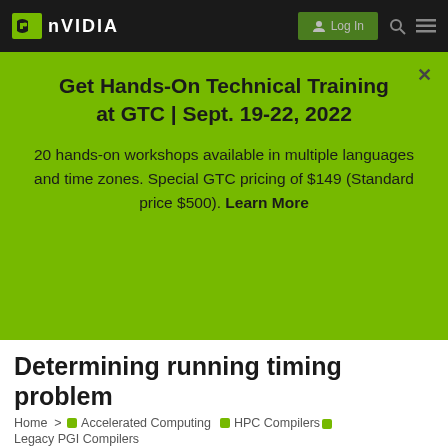NVIDIA | Log In
[Figure (screenshot): NVIDIA website promotional banner with green background advertising GTC hands-on training]
Get Hands-On Technical Training at GTC | Sept. 19-22, 2022
20 hands-on workshops available in multiple languages and time zones. Special GTC pricing of $149 (Standard price $500). Learn More
Determining running timing problem
Home > Accelerated Computing  HPC Compilers  Legacy PGI Compilers
deeppow